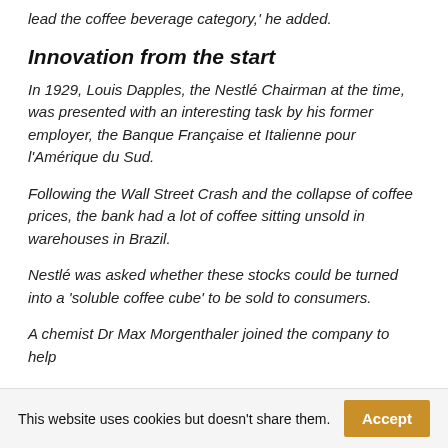lead the coffee beverage category,' he added.
Innovation from the start
In 1929, Louis Dapples, the Nestlé Chairman at the time, was presented with an interesting task by his former employer, the Banque Française et Italienne pour l'Amérique du Sud.
Following the Wall Street Crash and the collapse of coffee prices, the bank had a lot of coffee sitting unsold in warehouses in Brazil.
Nestlé was asked whether these stocks could be turned into a 'soluble coffee cube' to be sold to consumers.
A chemist Dr Max Morgenthaler joined the company to help
This website uses cookies but doesn't share them.